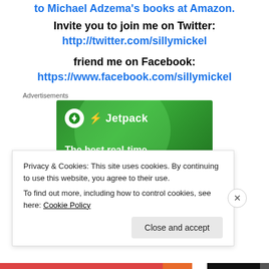to Michael Adzema's books at Amazon.
Invite you to join me on Twitter:
http://twitter.com/sillymickel
friend me on Facebook:
https://www.facebook.com/sillymickel
Advertisements
[Figure (other): Jetpack advertisement banner with green background showing logo and tagline 'The best real-time']
Privacy & Cookies: This site uses cookies. By continuing to use this website, you agree to their use.
To find out more, including how to control cookies, see here: Cookie Policy
Close and accept